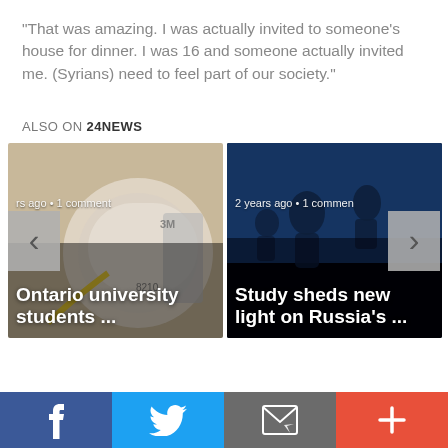"That was amazing. I was actually invited to someone's house for dinner. I was 16 and someone actually invited me. (Syrians) need to feel part of our society."
ALSO ON 24NEWS
[Figure (screenshot): Carousel of two news article cards. Left card: image of a white N95 respirator mask with text 'rs ago • 1 comment' and headline 'Ontario university students ...'. Right card: dark blue-tinted image of silhouettes with text '2 years ago • 1 comment' and headline 'Study sheds new light on Russia's ...'. Left navigation arrow on left edge, right navigation arrow on right edge.]
[Figure (infographic): Social share bar with four buttons: Facebook (blue #3b5998), Twitter (light blue #1da1f2), Email/envelope (gray), and Plus/more (orange-red).]